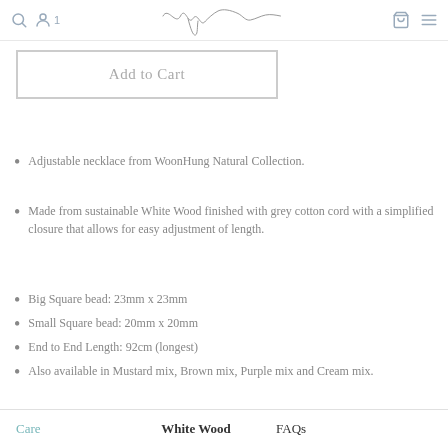WoonHung — navigation bar with search, user, cart, and menu icons
Add to Cart
Adjustable necklace from WoonHung Natural Collection.
Made from sustainable White Wood finished with grey cotton cord with a simplified closure that allows for easy adjustment of length.
Big Square bead: 23mm x 23mm
Small Square bead: 20mm x 20mm
End to End Length: 92cm (longest)
Also available in Mustard mix, Brown mix, Purple mix and Cream mix.
Care    White Wood    FAQs